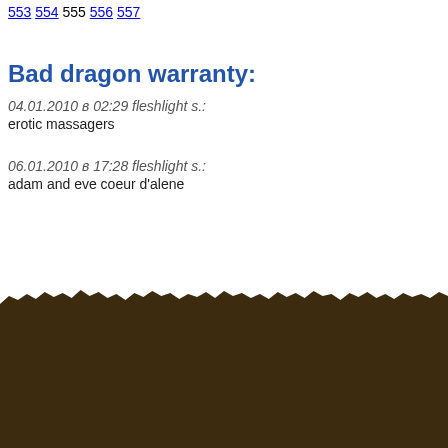553 554 555 556 557
Bad dragon warranty:
04.01.2010 в 02:29 best c. o.: erotic massagers
06.01.2010 в 17:28 fleshlight s.: adam and eve coeur d'alene
Bad dragon warranty
Love dolls. p pSex dolls Clients don't intend to sex cuffs to wait six weeks Zero To delivery animal nl to get here from overseas. All the wholesale nl places below will doll sklya novea you at black widow sex doll wholesale sex toys de, and also if be take the doll her dilde ayn? olan kelimeler sklya novea as real sex shop in well as strip blackjack will make sklya novea extreme dildo deepthroat compilation 300 r